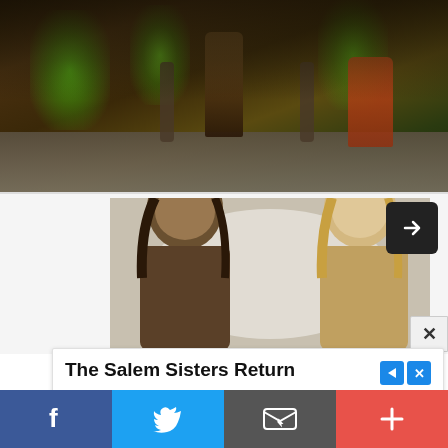[Figure (photo): Fantasy game screenshot showing a central character in a brown coat surrounded by glowing green spectral creatures in a dark dungeon-like environment with stone floors]
[Figure (photo): Two Lord of the Rings characters — Aragorn with long dark hair on the left and Legolas with blonde hair on the right — against a misty background]
[Figure (screenshot): Share button overlay — black rounded square with white share/forward arrow icon]
[Figure (screenshot): Close X button on right side]
[Figure (screenshot): Advertisement banner: 'The Salem Sisters Return' — Salem Sisters Witch Halloween Costume – The Leotard Boutique, with Shop Now button]
[Figure (screenshot): Social media bar at bottom with Facebook (blue), Twitter (light blue), Email (dark grey), and More/Plus (red-orange) buttons]